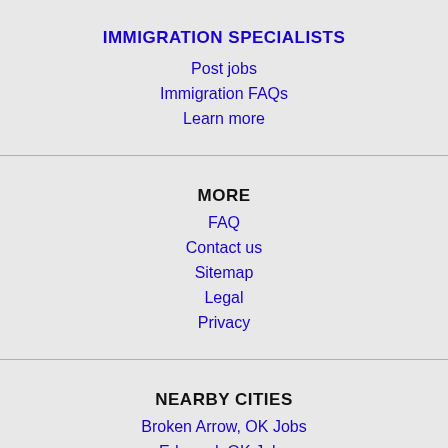IMMIGRATION SPECIALISTS
Post jobs
Immigration FAQs
Learn more
MORE
FAQ
Contact us
Sitemap
Legal
Privacy
NEARBY CITIES
Broken Arrow, OK Jobs
Edmond, OK Jobs